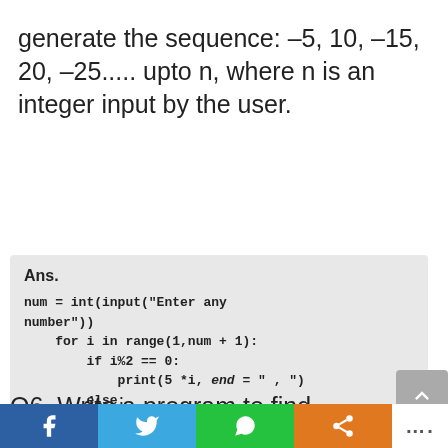generate the sequence: –5, 10, –15, 20, –25..... upto n, where n is an integer input by the user.
Ans.

num = int(input("Enter any number"))
    for i in range(1,num + 1):
        if i%2 == 0:
            print(5 *i, end = " , ")
        else:
            print(5*i*(-1), end = " , ")
Q6. Write a program to find ....